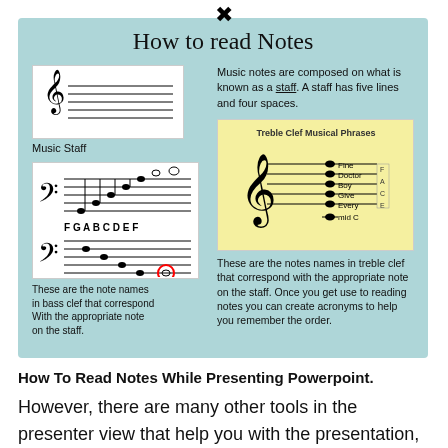How to read Notes
[Figure (illustration): Music staff with treble and bass clef symbols and five horizontal lines]
Music Staff
Music notes are composed on what is known as a staff. A staff has five lines and four spaces.
[Figure (illustration): Bass clef staff showing note positions labeled F G A B C D E F with a red circle on lower note]
These are the note names in bass clef that correspond With the appropriate note on the staff.
[Figure (illustration): Yellow card showing Treble Clef Musical Phrases with notes labeled Fine, Doctor, Boy, Give, Every, and middle C on a treble clef staff]
These are the notes names in treble clef that correspond with the appropriate note on the staff. Once you get use to reading notes you can create acronyms to help you remember the order.
How To Read Notes While Presenting Powerpoint.
However, there are many other tools in the presenter view that help you with the presentation, such as controlling the presentation time, highlighting some